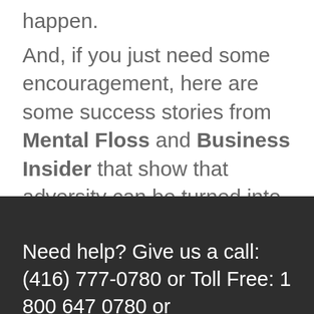happen.
And, if you just need some encouragement, here are some success stories from Mental Floss and Business Insider that show that adversity can be turned into advantage!
Need help? Give us a call: (416) 777-0780 or Toll Free: 1 800 647 0780 or